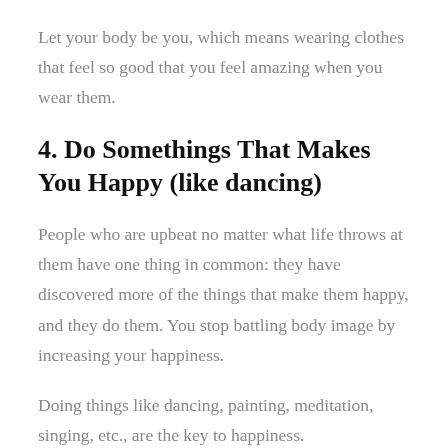Let your body be you, which means wearing clothes that feel so good that you feel amazing when you wear them.
4. Do Somethings That Makes You Happy (like dancing)
People who are upbeat no matter what life throws at them have one thing in common: they have discovered more of the things that make them happy, and they do them. You stop battling body image by increasing your happiness.
Doing things like dancing, painting, meditation, singing, etc., are the key to happiness.